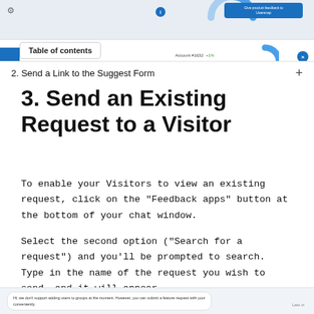[Figure (screenshot): Screenshot of a UI showing a table of contents overlay with 'Table of contents' label and a row item '2. Send a Link to the Suggest Form' with a '+' button. Below that are account rows showing Account #1632 +1% and Account #354 -12%.]
3. Send an Existing Request to a Visitor
To enable your Visitors to view an existing request, click on the "Feedback apps" button at the bottom of your chat window.
Select the second option ("Search for a request") and you'll be prompted to search. Type in the name of the request you wish to send, and it will appear.
[Figure (screenshot): Bottom of a chat window screenshot showing a message beginning with 'Hi, we don't support adding users to groups at the moment. However, you can submit a feature request with your...']